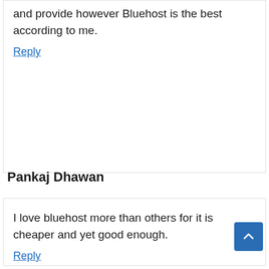and provide however Bluehost is the best according to me.
Reply
Pankaj Dhawan
I love bluehost more than others for it is cheaper and yet good enough.
Reply